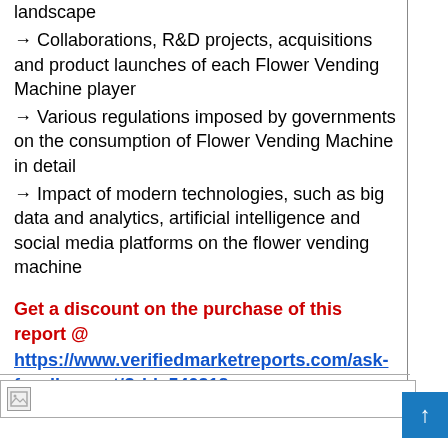landscape
→ Collaborations, R&D projects, acquisitions and product launches of each Flower Vending Machine player
→ Various regulations imposed by governments on the consumption of Flower Vending Machine in detail
→ Impact of modern technologies, such as big data and analytics, artificial intelligence and social media platforms on the flower vending machine
Get a discount on the purchase of this report @ https://www.verifiedmarketreports.com/ask-for-discount/?rid=540318
[Figure (other): Small broken image placeholder icon in bottom section]